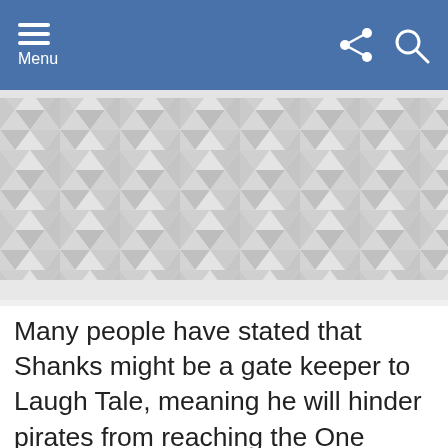Menu
[Figure (illustration): Geometric diamond/triangle pattern in shades of grey and white, serving as a placeholder image banner.]
Many people have stated that Shanks might be a gate keeper to Laugh Tale, meaning he will hinder pirates from reaching the One Piece. My theory is that Shanks has made a “deal” (I’ll explain the quotation marks below) with the World Government, stating that
Advertising